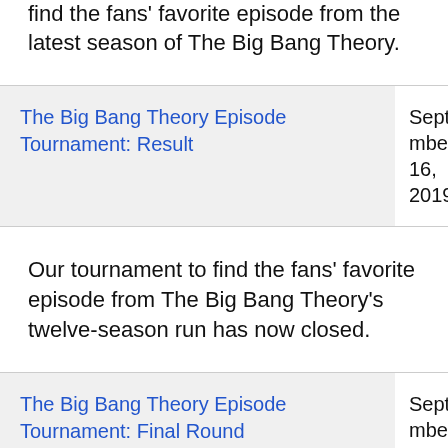find the fans' favorite episode from the latest season of The Big Bang Theory.
| Title | Date |
| --- | --- |
| The Big Bang Theory Episode Tournament: Result | September 16, 2019 |
Our tournament to find the fans' favorite episode from The Big Bang Theory's twelve-season run has now closed.
| Title | Date |
| --- | --- |
| The Big Bang Theory Episode Tournament: Final Round | September 10, 2019 |